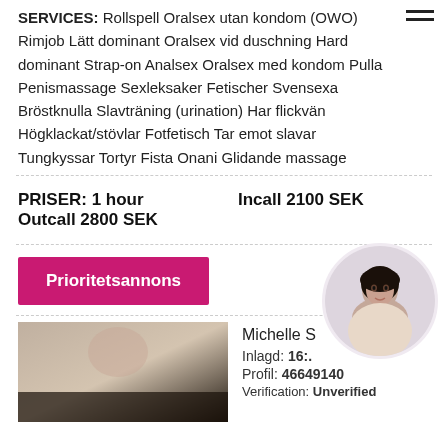SERVICES: Rollspell Oralsex utan kondom (OWO) Rimjob Lätt dominant Oralsex vid duschning Hard dominant Strap-on Analsex Oralsex med kondom Pulla Penismassage Sexleksaker Fetischer Svensexa Bröstknulla Slavträning (urination) Har flickvän Högklackat/stövlar Fotfetisch Tar emot slavar Tungkyssar Tortyr Fista Onani Glidande massage
PRISER: 1 hour   Incall 2100 SEK
Outcall 2800 SEK
Prioritetsannons
[Figure (photo): Circular profile photo of a dark-haired woman]
[Figure (photo): Listing thumbnail image, dark/warm toned partial photo]
Michelle S
Inlagd: 16:.
Profil: 46649140
Verification: Unverified